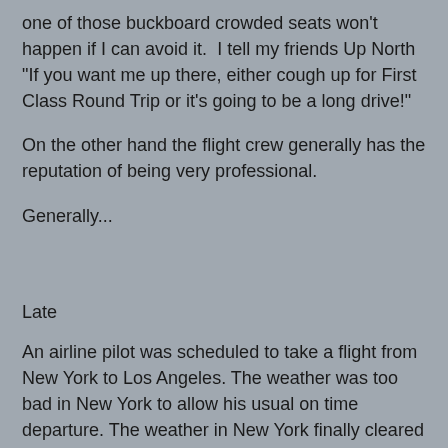one of those buckboard crowded seats won't happen if I can avoid it.  I tell my friends Up North "If you want me up there, either cough up for First Class Round Trip or it's going to be a long drive!"
On the other hand the flight crew generally has the reputation of being very professional.
Generally...
Late
An airline pilot was scheduled to take a flight from New York to Los Angeles. The weather was too bad in New York to allow his usual on time departure. The weather in New York finally cleared and the pilot asked for his departure clearance. He was very dismayed to hear that he had another delay due to the increased traffic now leaving New York.